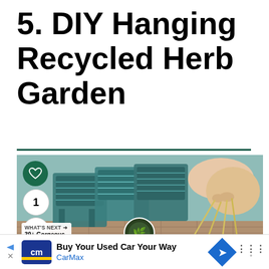5. DIY Hanging Recycled Herb Garden
[Figure (photo): A hand holding yellow strings/cords with teal/green plastic stacking chairs visible in the background on a tiled outdoor patio. Overlaid UI elements include a heart icon, number 1, share icon, and 'What's Next' panel showing '39+ Gorgeous DIY Garden...' with a thumbnail.]
[Figure (other): Advertisement bar: CarMax 'Buy Your Used Car Your Way' with CarMax logo, directional arrow icon, and weather dots indicator]